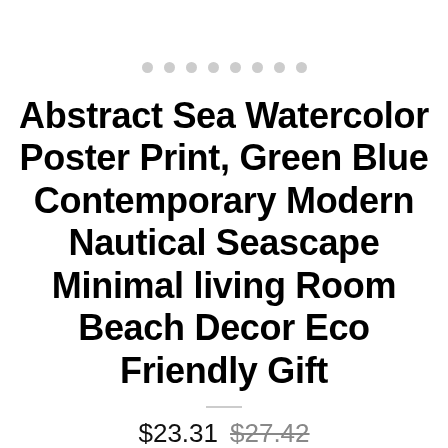[Figure (other): Pagination dots indicator: 8 gray circles in a row]
Abstract Sea Watercolor Poster Print, Green Blue Contemporary Modern Nautical Seascape Minimal living Room Beach Decor Eco Friendly Gift
$23.31 $27.42
Shipping to : Free